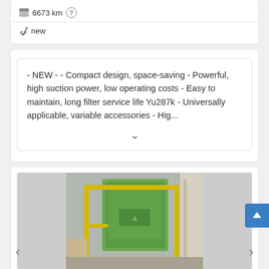6673 km
new
- NEW - - Compact design, space-saving - Powerful, high suction power, low operating costs - Easy to maintain, long filter service life Yu287k - Universally applicable, variable accessories - Hig...
[Figure (photo): Industrial green machine/dust collector in a factory setting with yellow scaffolding]
Save search query